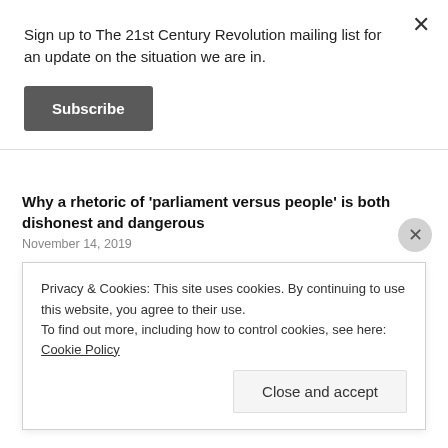Sign up to The 21st Century Revolution mailing list for an update on the situation we are in.
Subscribe
Why a rhetoric of ‘parliament versus people’ is both dishonest and dangerous
November 14, 2019
Why is the Democracy of the United Kingdom in such chaos and at such a low ebb?
November 8, 2019
“Brexit is the will of the British people” is complete
Privacy & Cookies: This site uses cookies. By continuing to use this website, you agree to their use.
To find out more, including how to control cookies, see here: Cookie Policy
Close and accept